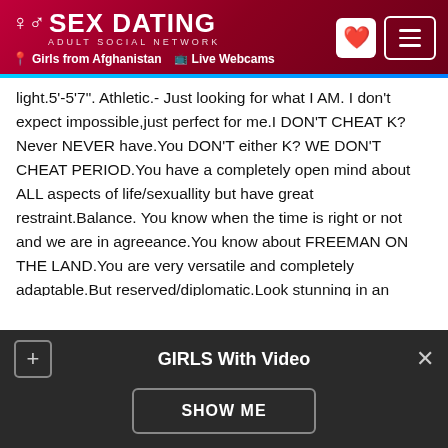SEX DATING ADULT SOCIAL NETWORK | Girls from Afghanistan | Live Webcams
light.5'-5'7". Athletic.- Just looking for what I AM. I don't expect impossible,just perfect for me.I DON'T CHEAT K?Never NEVER have.You DON'T either K? WE DON'T CHEAT PERIOD.You have a completely open mind about ALL aspects of life/sexuallity but have great restraint.Balance. You know when the time is right or not and we are in agreeance.You know about FREEMAN ON THE LAND.You are very versatile and completely adaptable.But reserved/diplomatic.Look stunning in an evening dress as well as a pair of VANS SK8 shoes,cowboy boots, or jeans,athletically active/agile as a cat, and ready for anything literally.Even if its working on our dream home in the construction zone or
GIRLS With Video
SHOW ME